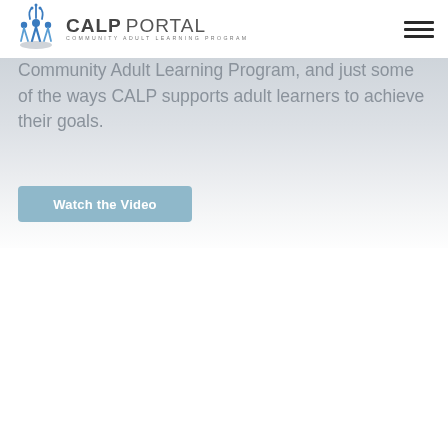[Figure (logo): CALP Portal logo with stylized blue figures/splash icon and text 'CALP PORTAL - COMMUNITY ADULT LEARNING PROGRAM']
[Figure (illustration): Hamburger menu icon (three horizontal dark lines)]
Community Adult Learning Program, and just some of the ways CALP supports adult learners to achieve their goals.
[Figure (other): Button labeled 'Watch the Video' with light blue background and white text]